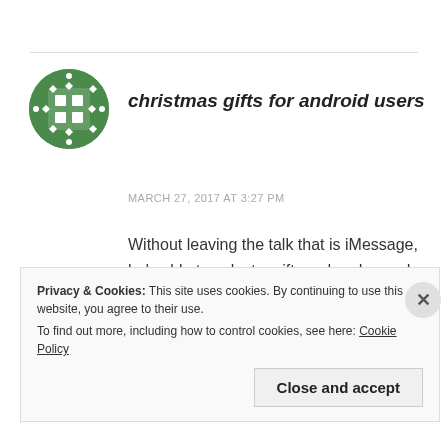[Figure (illustration): Green decorative circular avatar icon with geometric pattern]
christmas gifts for android users
MARCH 27, 2017 AT 3:27 PM
Without leaving the talk that is iMessage, he's able to select a gift-card and spend with Apple Pay with just a few shoes.
Privacy & Cookies: This site uses cookies. By continuing to use this website, you agree to their use. To find out more, including how to control cookies, see here: Cookie Policy
Close and accept